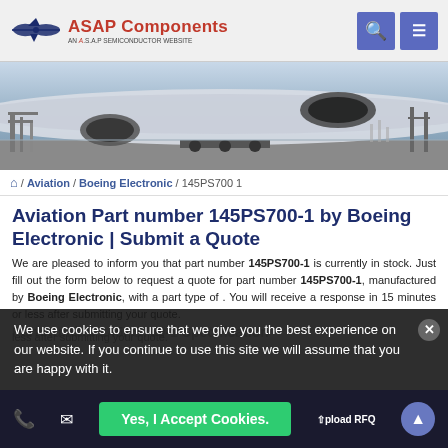[Figure (logo): ASAP Components logo with airplane silhouette and tagline 'AN A.S.A.P SEMICONDUCTOR WEBSITE'. Header includes search and menu icon buttons.]
[Figure (photo): Hero banner photo of commercial aircraft on tarmac with ground equipment, engines visible.]
🏠 / Aviation / Boeing Electronic / 145PS700 1
Aviation Part number 145PS700-1 by Boeing Electronic | Submit a Quote
We are pleased to inform you that part number 145PS700-1 is currently in stock. Just fill out the form below to request a quote for part number 145PS700-1, manufactured by Boeing Electronic, with a part type of . You will receive a response in 15 minutes or less after submitting your quote.
We use cookies to ensure that we give you the best experience on our website. If you continue to use this site we will assume that you are happy with it.
Part Number 145PS700-1 Specification
Yes, I Accept Cookies.
Upload RFQ